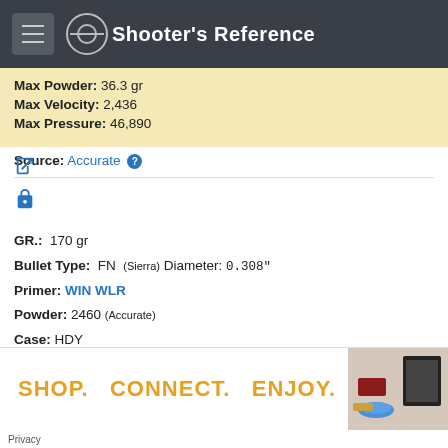Shooter's Reference
Max Powder: 36.3 gr
Max Velocity: 2,436
Max Pressure: 46,890
Source: Accurate
GR.: 170 gr
Bullet Type: FN (Sierra) Diameter: 0.308"
Primer: WIN WLR
Powder: 2460 (Accurate)
Case: HDY
Trim Length: 1.900"
C.O.L.: 2.414"
[Figure (infographic): Advertisement banner with text SHOP. CONNECT. ENJOY. in orange bold letters with product images on the right]
Privacy